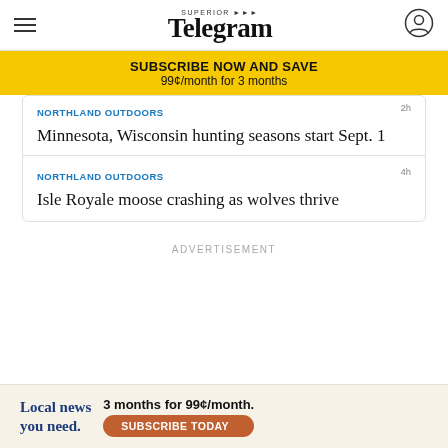Superior Telegram
SUBSCRIBE NOW AND SAVE
99¢/month for 3 months
NORTHLAND OUTDOORS  2h
Minnesota, Wisconsin hunting seasons start Sept. 1
NORTHLAND OUTDOORS  4h
Isle Royale moose crashing as wolves thrive
ADVERTISEMENT
Local news you need.  3 months for 99¢/month.  SUBSCRIBE TODAY